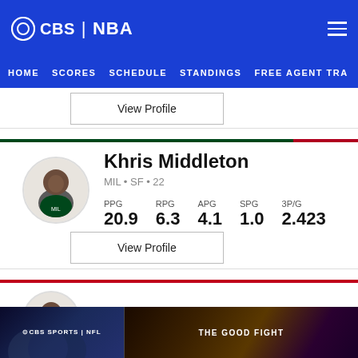CBS | NBA — HOME SCORES SCHEDULE STANDINGS FREE AGENT TRA
[Figure (screenshot): View Profile button for a player above Khris Middleton]
Khris Middleton — MIL • SF • 22 — PPG 20.9 RPG 6.3 APG 4.1 SPG 1.0 3P/G 2.423
View Profile
Pascal Siakam
[Figure (screenshot): CBS Sports NFL and The Good Fight advertisement banner at bottom]